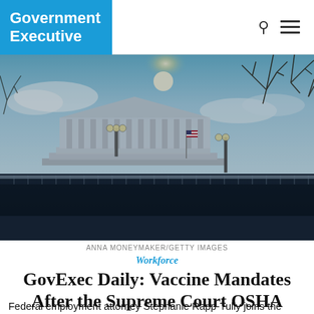Government Executive
[Figure (photo): Exterior photograph of the U.S. Supreme Court building in Washington D.C. on a bright winter day with bare trees in the background and security fencing in the foreground.]
ANNA MONEYMAKER/GETTY IMAGES
Workforce
GovExec Daily: Vaccine Mandates After the Supreme Court OSHA Decision
Federal employment attorney Stephanie Rapp-Tully joins the show to discuss the future of vaccine rules